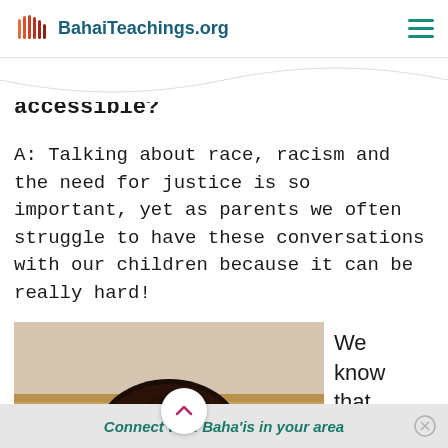BahaiTeachings.org
accessible?
A: Talking about race, racism and the need for justice is so important, yet as parents we often struggle to have these conversations with our children because it can be really hard!
[Figure (photo): Top of a child's head with curly dark hair, sitting at a wooden table with a beige/tan wall behind them.]
We know that
Connect with Baha'is in your area